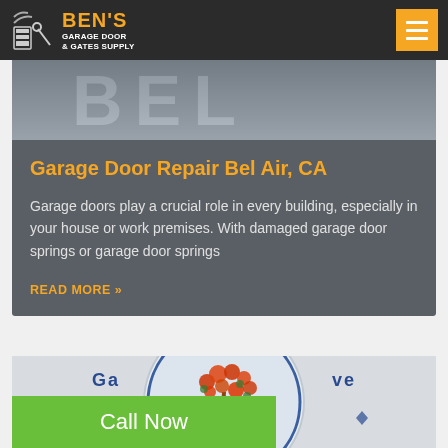Ben's Garage Door & Gates Supply
[Figure (photo): Close-up photo of a silver/chrome door with letters BEL partially visible]
Garage Door Repair Bel Air, CA
Garage doors play a crucial role in every building, especially in your house or work premises. With damaged garage door springs or garage door springs
READ MORE »
[Figure (photo): Circular city seal/emblem with a decorative tree with red/orange blossoms and text around the border reading Ga... ve]
Call Now